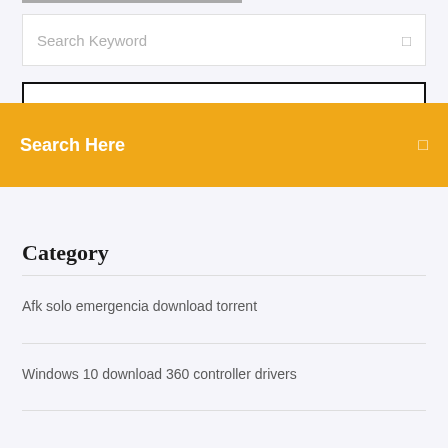Search Keyword
Search Here
Category
Afk solo emergencia download torrent
Windows 10 download 360 controller drivers